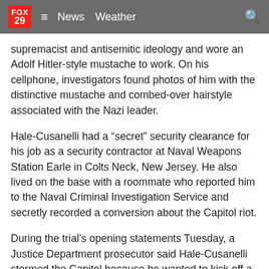FOX 29  ≡  News  Weather  🔍
supremacist and antisemitic ideology and wore an Adolf Hitler-style mustache to work. On his cellphone, investigators found photos of him with the distinctive mustache and combed-over hairstyle associated with the Nazi leader.
Hale-Cusanelli had a “secret” security clearance for his job as a security contractor at Naval Weapons Station Earle in Colts Neck, New Jersey. He also lived on the base with a roommate who reported him to the Naval Criminal Investigation Service and secretly recorded a conversion about the Capitol riot.
During the trial’s opening statements Tuesday, a Justice Department prosecutor said Hale-Cusanelli stormed the Capitol because he wanted to kick off a civil war and create “a clean slate.”